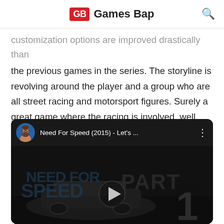GB Games Bap
customization options are improved drastically than the previous games in the series. The storyline is revolving around the player and a group who are all street racing and motorsport figures. Surely a great game where the racing is involved, well, only racing is involved.
[Figure (screenshot): YouTube video thumbnail for 'Need For Speed (2015) - Let's ...' showing a dark scene with cars and the Need For Speed / Part 1 logo overlay, with a play button in the center. Includes a channel avatar of a bearded man.]